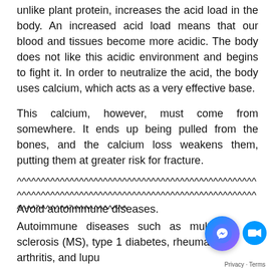unlike plant protein, increases the acid load in the body. An increased acid load means that our blood and tissues become more acidic. The body does not like this acidic environment and begins to fight it. In order to neutralize the acid, the body uses calcium, which acts as a very effective base.
This calcium, however, must come from somewhere. It ends up being pulled from the bones, and the calcium loss weakens them, putting them at greater risk for fracture.
^^^^^^^^^^^^^^^^^^^^^^^^^^^^^^^^^^^^^^^^^^^^^^^^^^^^^^^^^^^^^^^^^^^^^^^^^^^^^^^^^^^^^^^^^^^^^^^^^^^^^^^^^^^^^^^^^^^^^^^^^^^^^^^^^^^^^^^^^^^
Avoid autoimmune diseases.
Autoimmune diseases such as multiple sclerosis (MS), type 1 diabetes, rheumatoid arthritis, and lupus are related to cow's milk consumption various studies have shown.